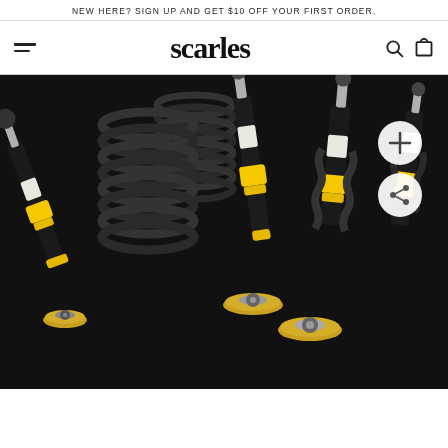NEW HERE? SIGN UP AND GET $10 OFF YOUR FIRST ORDER.
[Figure (screenshot): Scarles website navigation bar with hamburger menu on left, 'scarles' gothic logo in center, search and cart icons on right]
[Figure (photo): Product photo of yellow and black coilover suspension kit components on black background, showing springs, shock absorbers with yellow perches and top mounts, displayed for an automotive parts e-commerce website]